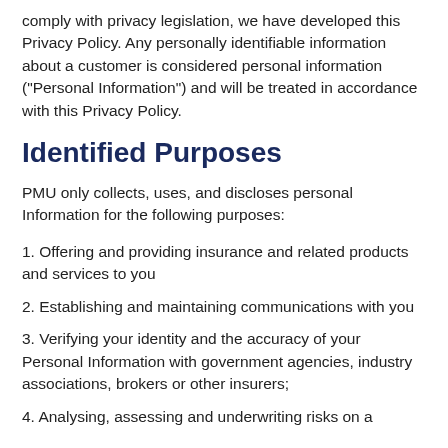comply with privacy legislation, we have developed this Privacy Policy. Any personally identifiable information about a customer is considered personal information ("Personal Information") and will be treated in accordance with this Privacy Policy.
Identified Purposes
PMU only collects, uses, and discloses personal Information for the following purposes:
1. Offering and providing insurance and related products and services to you
2. Establishing and maintaining communications with you
3. Verifying your identity and the accuracy of your Personal Information with government agencies, industry associations, brokers or other insurers;
4. Analysing, assessing and underwriting risks on a